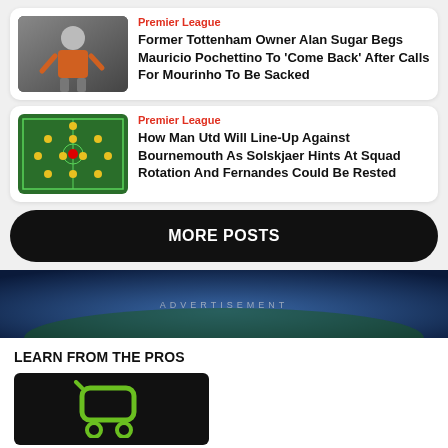[Figure (photo): News card 1: coach figure with orange jacket, Premier League category label and headline]
[Figure (photo): News card 2: soccer field formation graphic for Man Utd vs Bournemouth]
MORE POSTS
ADVERTISEMENT
LEARN FROM THE PROS
[Figure (logo): Dark box with green cart/trolley icon logo]